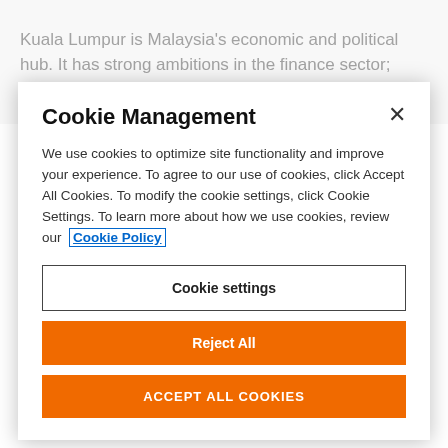Kuala Lumpur is Malaysia's economic and political hub. It has strong ambitions in the finance sector; foreign banks and insurance companies are
Cookie Management
We use cookies to optimize site functionality and improve your experience. To agree to our use of cookies, click Accept All Cookies. To modify the cookie settings, click Cookie Settings. To learn more about how we use cookies, review our Cookie Policy
Cookie settings
Reject All
ACCEPT ALL COOKIES